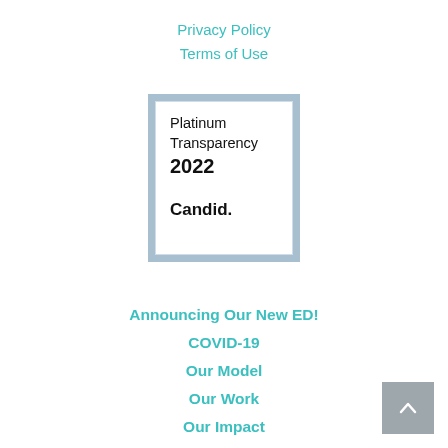Privacy Policy
Terms of Use
[Figure (logo): Candid Platinum Transparency 2022 badge — a square with steel-blue outer border, white inner area, showing text: Platinum Transparency 2022 Candid.]
Announcing Our New ED!
COVID-19
Our Model
Our Work
Our Impact